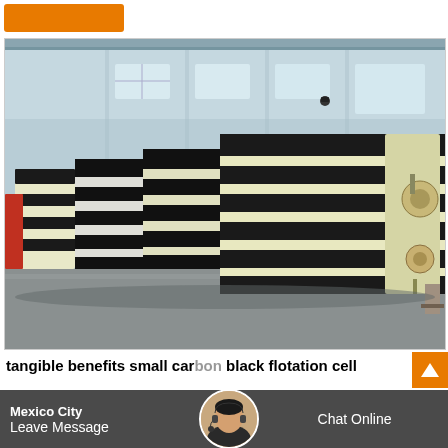[Figure (photo): Industrial flotation cell machines stacked in a warehouse/factory setting. Large black and cream/beige colored flotation cell units are arranged in rows inside a large industrial building with high ceilings and corrugated metal walls.]
tangible benefits small carbon black flotation cell Mexico City
high speed air inflation flotation cell for nickel high speed
Leave Message
Chat Online